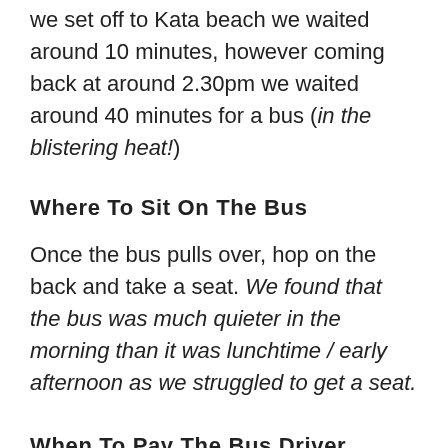we set off to Kata beach we waited around 10 minutes, however coming back at around 2.30pm we waited around 40 minutes for a bus (in the blistering heat!)
Where To Sit On The Bus
Once the bus pulls over, hop on the back and take a seat. We found that the bus was much quieter in the morning than it was lunchtime / early afternoon as we struggled to get a seat.
When To Pay The Bus Driver